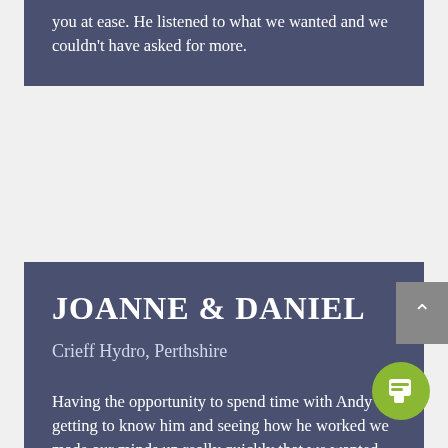you at ease. He listened to what we wanted and we couldn't have asked for more.
JOANNE & DANIEL
Crieff Hydro, Perthshire
Having the opportunity to spend time with Andy getting to know him and seeing how he worked we made our minds up really quickly that we wanted